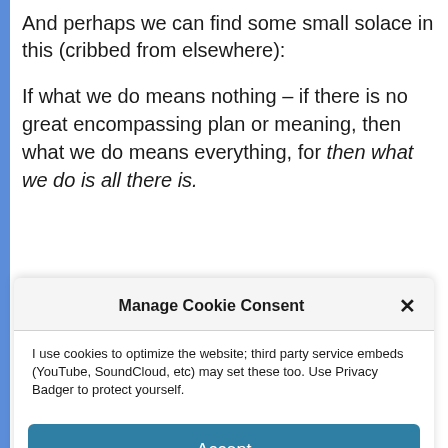And perhaps we can find some small solace in this (cribbed from elsewhere):
If what we do means nothing – if there is no great encompassing plan or meaning, then what we do means everything, for then what we do is all there is.
Manage Cookie Consent
I use cookies to optimize the website; third party service embeds (YouTube, SoundCloud, etc) may set these too. Use Privacy Badger to protect yourself.
Accept